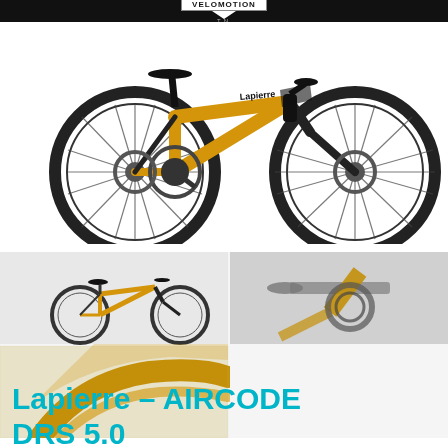VELOMOTION TN
[Figure (photo): Gold and black Lapierre road bike with disc brakes shown from the side against white background]
[Figure (photo): Gallery of four detail photos: small full bike view, handlebar/stem close-up, rear derailleur/dropout close-up, and frame detail close-up]
Lapierre – AIRCODE DRS 5.0